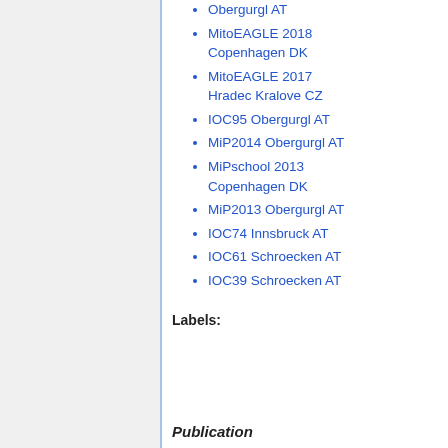Obergurgl AT
MitoEAGLE 2018 Copenhagen DK
MitoEAGLE 2017 Hradec Kralove CZ
IOC95 Obergurgl AT
MiP2014 Obergurgl AT
MiPschool 2013 Copenhagen DK
MiP2013 Obergurgl AT
IOC74 Innsbruck AT
IOC61 Schroecken AT
IOC39 Schroecken AT
Labels:
Publication